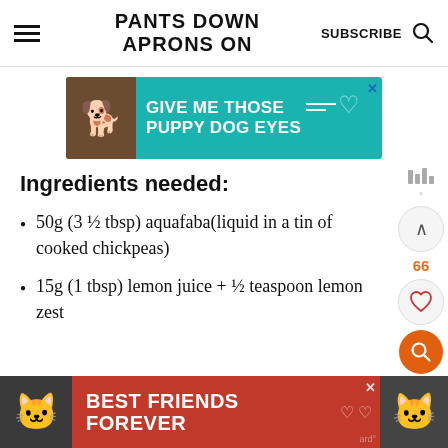PANTS DOWN APRONS ON — SUBSCRIBE
[Figure (advertisement): Teal advertisement banner with dog photo: GIVE ME THOSE PUPPY DOG EYES]
Ingredients needed:
50g (3 ½ tbsp) aquafaba(liquid in a tin of cooked chickpeas)
15g (1 tbsp) lemon juice + ½ teaspoon lemon zest
[Figure (advertisement): Red advertisement banner with cats: BEST FRIENDS FOREVER]